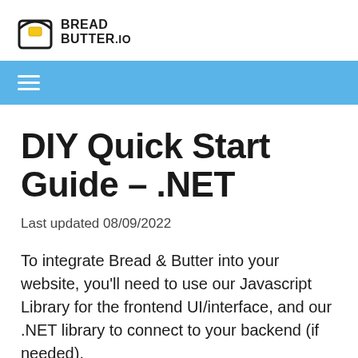BREAD BUTTER.io
DIY Quick Start Guide – .NET
Last updated 08/09/2022
To integrate Bread & Butter into your website, you'll need to use our Javascript Library for the frontend UI/interface, and our .NET library to connect to your backend (if needed).